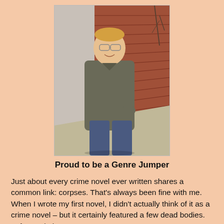[Figure (photo): A smiling blond man with glasses leaning against a red brick wall, wearing a grey jacket and jeans, outdoors on a sidewalk with bare trees visible in the background.]
Proud to be a Genre Jumper
Just about every crime novel ever written shares a common link: corpses. That's always been fine with me. When I wrote my first novel, I didn't actually think of it as a crime novel – but it certainly featured a few dead bodies. In fact, Britain's